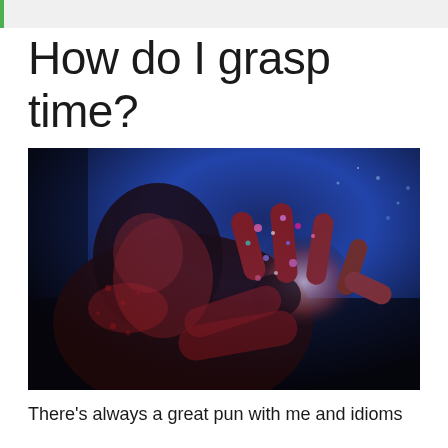How do I grasp time?
[Figure (photo): A dark, stylized photo of a person reaching toward the camera with an open hand spread wide, with colorful glitter or cosmic effects on the palm and fingers. Background is deep blue/purple. The image has a halftone or heavily processed look with dark shadows.]
There's always a great pun with me and idioms